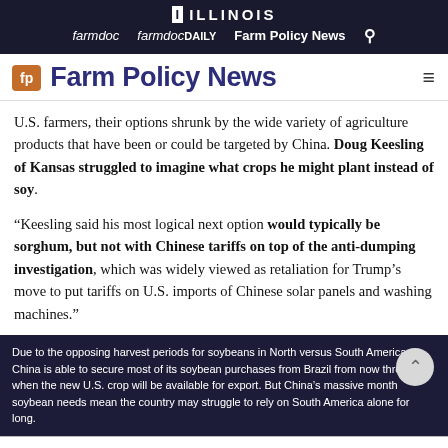ILLINOIS | farmdoc  farmdocDAILY  Farm Policy News
Farm Policy News
U.S. farmers, their options shrunk by the wide variety of agriculture products that have been or could be targeted by China. Doug Keesling of Kansas struggled to imagine what crops he might plant instead of soy.
“Keesling said his most logical next option would typically be sorghum, but not with Chinese tariffs on top of the anti-dumping investigation, which was widely viewed as retaliation for Trump’s move to put tariffs on U.S. imports of Chinese solar panels and washing machines.”
Due to the opposing harvest periods for soybeans in North versus South America, China is able to secure most of its soybean purchases from Brazil from now through Q when the new U.S. crop will be available for export. But China’s massive month soybean needs mean the country may struggle to rely on South America alone for long.
9,000,000